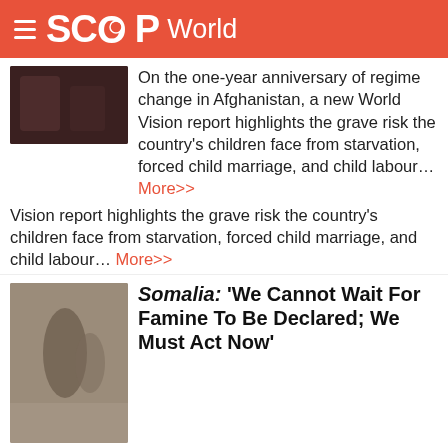SCOOP World
On the one-year anniversary of regime change in Afghanistan, a new World Vision report highlights the grave risk the country's children face from starvation, forced child marriage, and child labour… More>>
Somalia: 'We Cannot Wait For Famine To Be Declared; We Must Act Now'
Rising acute food insecurity in Somalia has caused more than 900,000 people to flee their homes in search of humanitarian assistance since January last year, the Food and Agriculture Organization (FAO) has warned… More>>
UN: American West Faces Water And Power Shortages Due To Climate Crisis
Two of the largest reservoirs in the United States are at dangerously low levels due to the climate crisis, and…